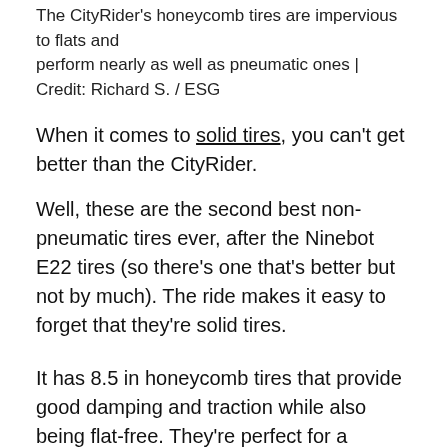The CityRider's honeycomb tires are impervious to flats and perform nearly as well as pneumatic ones | Credit: Richard S. / ESG
When it comes to solid tires, you can't get better than the CityRider.
Well, these are the second best non-pneumatic tires ever, after the Ninebot E22 tires (so there's one that's better but not by much). The ride makes it easy to forget that they're solid tires.
It has 8.5 in honeycomb tires that provide good damping and traction while also being flat-free. They're perfect for a beginner-friendly scooter like the CityRider, as they're providing the best riding experience in a no-maintenance design.